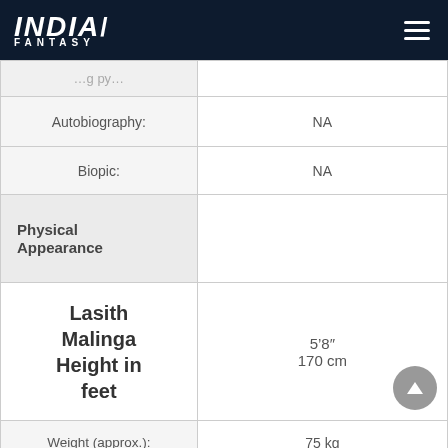INDIA FANTASY
| Label | Value |
| --- | --- |
| (Biography) |  |
| Autobiography: | NA |
| Biopic: | NA |
| Physical Appearance |  |
| Lasith Malinga Height in feet | 5'8" 170 cm |
| Weight (approx.): | 75 kg |